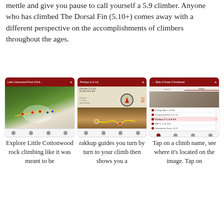mettle and give you pause to call yourself a 5.9 climber. Anyone who has climbed The Dorsal Fin (5.10+) comes away with a different perspective on the accomplishments of climbers throughout the ages.
[Figure (screenshot): Three smartphone screenshots of a rock climbing app (rakkup). Left: satellite map of Little Cottonwood Canyon with climbing route markers. Middle: compass navigation screen showing direction arrow and terrain photo with route overlay. Right: climb list screen with cliff photo at top and list of climbs.]
Explore Little Cottonwood rock climbing like it was meant to be
rakkup guides you turn by turn to your climb then shows you a
Tap on a climb name, see where it's located on the image. Tap on